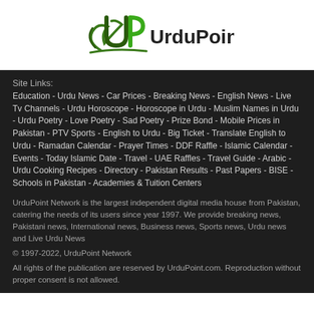[Figure (logo): UrduPoint logo with green and dark green stylized U and P letters with swoosh, followed by text 'UrduPoint']
Site Links:
Education - Urdu News - Car Prices - Breaking News - English News - Live Tv Channels - Urdu Horoscope - Horoscope in Urdu - Muslim Names in Urdu - Urdu Poetry - Love Poetry - Sad Poetry - Prize Bond - Mobile Prices in Pakistan - PTV Sports - English to Urdu - Big Ticket - Translate English to Urdu - Ramadan Calendar - Prayer Times - DDF Raffle - Islamic Calendar - Events - Today Islamic Date - Travel - UAE Raffles - Travel Guide - Arabic - Urdu Cooking Recipes - Directory - Pakistan Results - Past Papers - BISE - Schools in Pakistan - Academies & Tuition Centers
UrduPoint Network is the largest independent digital media house from Pakistan, catering the needs of its users since year 1997. We provide breaking news, Pakistani news, International news, Business news, Sports news, Urdu news and Live Urdu News
© 1997-2022, UrduPoint Network
All rights of the publication are reserved by UrduPoint.com. Reproduction without proper consent is not allowed.